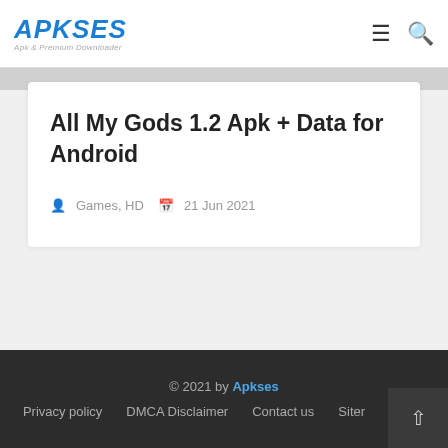APKSES — Apk & Premium Downloader
All My Gods 1.2 Apk + Data for Android
Games, HD  21 Jun 2021
© 2021 by Apkses | Privacy policy | DMCA Disclaimer | Contact us | Siter